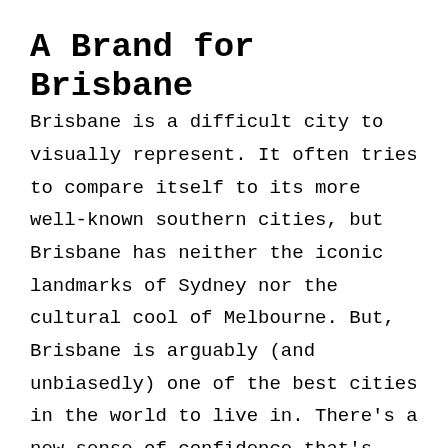A Brand for Brisbane
Brisbane is a difficult city to visually represent. It often tries to compare itself to its more well-known southern cities, but Brisbane has neither the iconic landmarks of Sydney nor the cultural cool of Melbourne. But, Brisbane is arguably (and unbiasedly) one of the best cities in the world to live in. There's a new sense of confidence that's emerged in the last few years with people finally embracing their hometown and wanting to celebrate it. The weather, the cafes, the river, the parks, the architecture